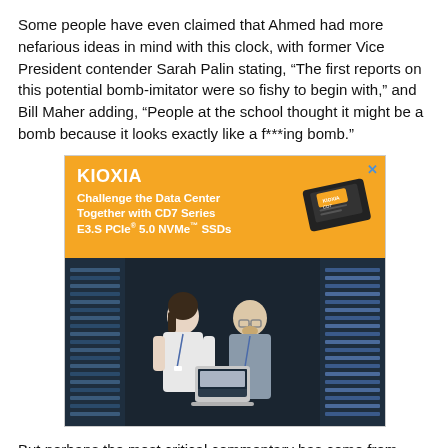Some people have even claimed that Ahmed had more nefarious ideas in mind with this clock, with former Vice President contender Sarah Palin stating, “The first reports on this potential bomb-imitator were so fishy to begin with,” and Bill Maher adding, “People at the school thought it might be a bomb because it looks exactly like a f***ing bomb.”
[Figure (infographic): KIOXIA advertisement banner. Orange top section with KIOXIA logo and text: Challenge the Data Center Together with CD7 Series E3.S PCIe 5.0 NVMe SSDs, with an image of an SSD drive. Bottom section shows a photo of two data center workers (a woman and a man with glasses) looking at a laptop in a server room.]
But perhaps the most critical commentary has come from